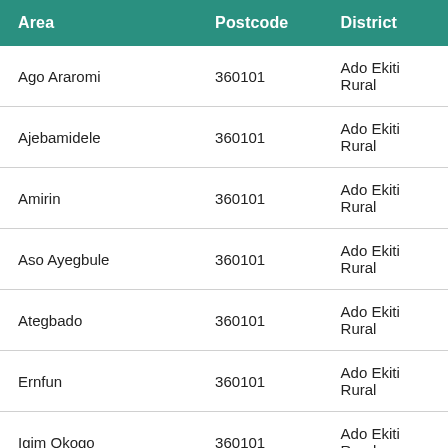| Area | Postcode | District |
| --- | --- | --- |
| Ago Araromi | 360101 | Ado Ekiti Rural |
| Ajebamidele | 360101 | Ado Ekiti Rural |
| Amirin | 360101 | Ado Ekiti Rural |
| Aso Ayegbule | 360101 | Ado Ekiti Rural |
| Ategbado | 360101 | Ado Ekiti Rural |
| Ernfun | 360101 | Ado Ekiti Rural |
| Igim Okogo | 360101 | Ado Ekiti Rural |
| Igirigiri | 360101 | Ado Ekiti Rural |
| Ika | 360101 | Ado Ekiti Rural |
| Ikewo | 360101 | Ado Ekiti Rural |
| Ilokun | 360101 | Ado Ekiti Rural |